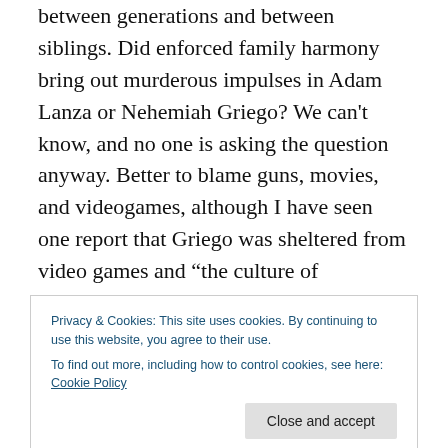between generations and between siblings. Did enforced family harmony bring out murderous impulses in Adam Lanza or Nehemiah Griego? We can't know, and no one is asking the question anyway. Better to blame guns, movies, and videogames, although I have seen one report that Griego was sheltered from video games and “the culture of violence.”
I had originally intended to write something today about the academic preoccupation with the history of slavery. Although there are few academic jobs available today in
Privacy & Cookies: This site uses cookies. By continuing to use this website, you agree to their use.
To find out more, including how to control cookies, see here: Cookie Policy
and Richard Slotkin’s first major book, Regeneration